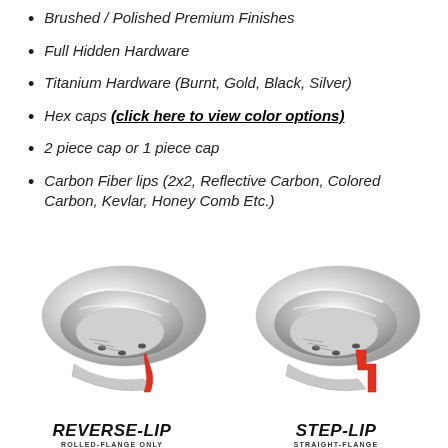Brushed / Polished Premium Finishes
Full Hidden Hardware
Titanium Hardware (Burnt, Gold, Black, Silver)
Hex caps (click here to view color options)
2 piece cap or 1 piece cap
Carbon Fiber lips (2x2, Reflective Carbon, Colored Carbon, Kevlar, Honey Comb Etc.)
[Figure (illustration): Cross-section illustration of a wheel lip labeled REVERSE-LIP with ROLLED-FLANGE ONLY subtitle, showing chrome wheel lip with red flange highlight]
[Figure (illustration): Cross-section illustration of a wheel lip labeled STEP-LIP with STRAIGHT-FLANGE subtitle, showing chrome wheel lip with red step highlight]